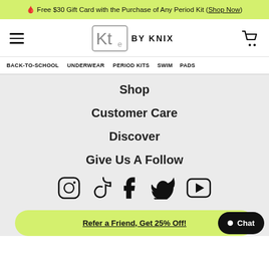🩸 Free $30 Gift Card with the Purchase of Any Period Kit (Shop Now)
[Figure (logo): Kt. BY KNIX logo with hamburger menu and cart icon in header]
BACK-TO-SCHOOL  UNDERWEAR  PERIOD KITS  SWIM  PADS
Shop
Customer Care
Discover
Give Us A Follow
[Figure (infographic): Social media icons row: Instagram, TikTok, Facebook, Twitter, YouTube]
Refer a Friend, Get 25% Off!